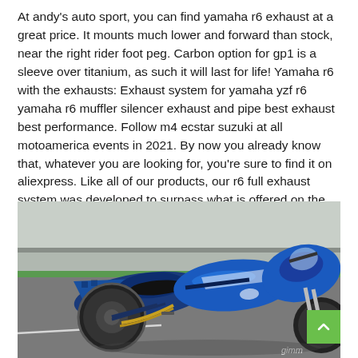At andy's auto sport, you can find yamaha r6 exhaust at a great price. It mounts much lower and forward than stock, near the right rider foot peg. Carbon option for gp1 is a sleeve over titanium, as such it will last for life! Yamaha r6 with the exhausts: Exhaust system for yamaha yzf r6 yamaha r6 muffler silencer exhaust and pipe best exhaust best performance. Follow m4 ecstar suzuki at all motoamerica events in 2021. By now you already know that, whatever you are looking for, you're sure to find it on aliexpress. Like all of our products, our r6 full exhaust system was developed to surpass what is offered on the market today.
[Figure (photo): A blue Yamaha R6 motorcycle on a racing track, viewed from the left rear quarter angle, showing the tail section, fuel tank, and fairings. A green scroll-to-top button is visible in the bottom right corner.]